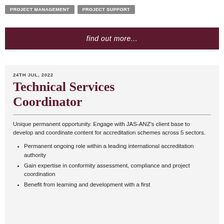PROJECT MANAGEMENT
PROJECT SUPPORT
find out more...
24TH JUL, 2022
Technical Services Coordinator
Unique permanent opportunity. Engage with JAS-ANZ's client base to develop and coordinate content for accreditation schemes across 5 sectors.
Permanent ongoing role within a leading international accreditation authority
Gain expertise in conformity assessment, compliance and project coordination
Benefit from learning and development with a first